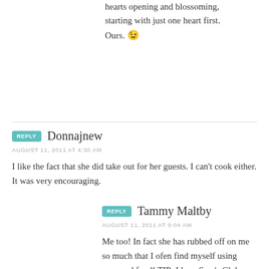hearts opening and blossoming, starting with just one heart first. Ours. 😉
Donnajnew
AUGUST 11, 2011 AT 4:30 AM
I like the fact that she did take out for her guests. I can't cook either. It was very encouraging.
Tammy Maltby
AUGUST 11, 2011 AT 9:04 AM
Me too! In fact she has rubbed off on me so much that I ofen find myself using prepared food! TIP: I love Sam's Club Lasagna....I just put it in